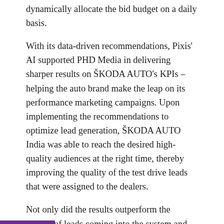dynamically allocate the bid budget on a daily basis.
With its data-driven recommendations, Pixis' AI supported PHD Media in delivering sharper results on ŠKODA AUTO's KPIs – helping the auto brand make the leap on its performance marketing campaigns. Upon implementing the recommendations to optimize lead generation, ŠKODA AUTO India was able to reach the desired high-quality audiences at the right time, thereby improving the quality of the test drive leads that were assigned to the dealers.
Not only did the results outperform the quality of leads coming into the system and increase savings in terms of prospects, but it also increased the average daily leads by nearly 17% for ŠKODA Superb and improved the CPL by approximately 10%.